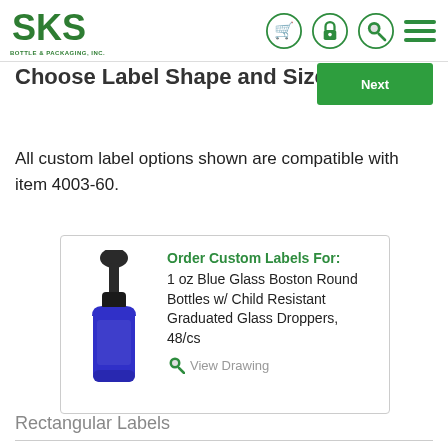[Figure (logo): SKS Bottle & Packaging Inc. green logo with shopping cart, lock, search, and menu icons]
Choose Label Shape and Size
All custom label options shown are compatible with item 4003-60.
[Figure (illustration): Product card showing 1 oz Blue Glass Boston Round Bottle with Child Resistant Graduated Glass Dropper, 48/cs. Includes Order Custom Labels For label and View Drawing link.]
Rectangular Labels